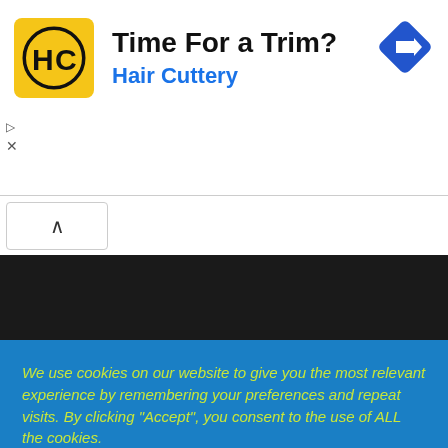[Figure (logo): Hair Cuttery advertisement banner with yellow HC logo, text 'Time For a Trim?' and 'Hair Cuttery' in blue, and a blue navigation diamond icon on the right]
[Figure (other): Collapse/hide chevron button (upward arrow) in a white rounded box]
[Figure (other): Dark black section area, appears to be empty content area]
We use cookies on our website to give you the most relevant experience by remembering your preferences and repeat visits. By clicking “Accept”, you consent to the use of ALL the cookies.
Cookie settings
ACCEPT